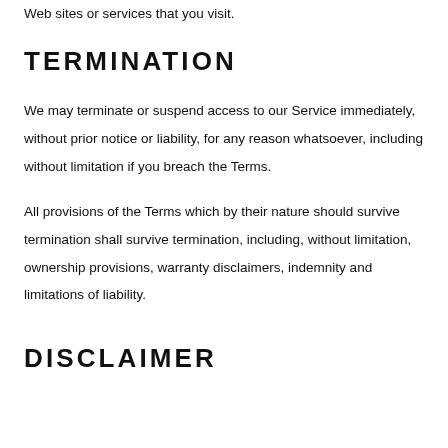Web sites or services that you visit.
TERMINATION
We may terminate or suspend access to our Service immediately, without prior notice or liability, for any reason whatsoever, including without limitation if you breach the Terms.
All provisions of the Terms which by their nature should survive termination shall survive termination, including, without limitation, ownership provisions, warranty disclaimers, indemnity and limitations of liability.
DISCLAIMER